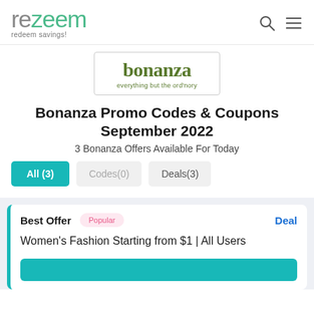rezeem redeem savings!
[Figure (logo): Bonanza logo — 'bonanza everything but the ord'nory' in olive green serif font inside a rounded rectangle border]
Bonanza Promo Codes & Coupons September 2022
3 Bonanza Offers Available For Today
All (3)   Codes(0)   Deals(3)
Best Offer   Popular   Deal
Women's Fashion Starting from $1 | All Users